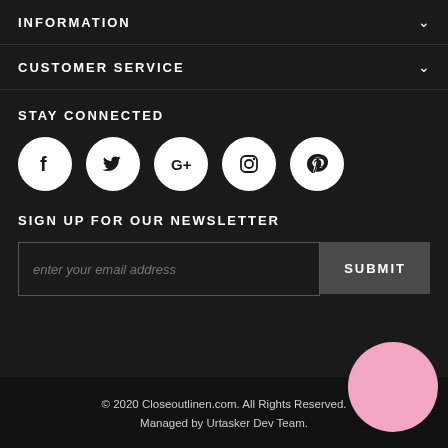INFORMATION
CUSTOMER SERVICE
STAY CONNECTED
[Figure (infographic): Row of five social media icons (Facebook, Twitter, Google+, Instagram, Pinterest) as white circles on dark background]
SIGN UP FOR OUR NEWSLETTER
enter your email address
SUBMIT
© 2020 Closeoutlinen.com. All Rights Reserved. Managed by Urtasker Dev Team.
[Figure (illustration): Pink circle in bottom-right corner]